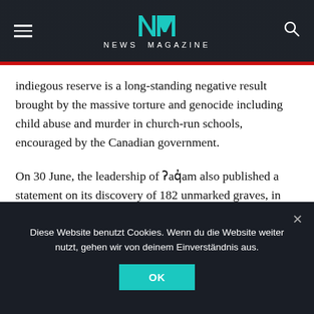NEWS MAGAZINE
indiegous reserve is a long-standing negative result brought by the massive torture and genocide including child abuse and murder in church-run schools, encouraged by the Canadian government.
On 30 June, the leadership of ʔaq̓am also published a statement on its discovery of 182 unmarked graves, in which it mentioned that the remains were found near the St. Eugene Residential School which was in operation from 1912 to 1970, with hundreds of children from Ktunaxa and surrounding nations and communities.
Diese Website benutzt Cookies. Wenn du die Website weiter nutzt, gehen wir von deinem Einverständnis aus.